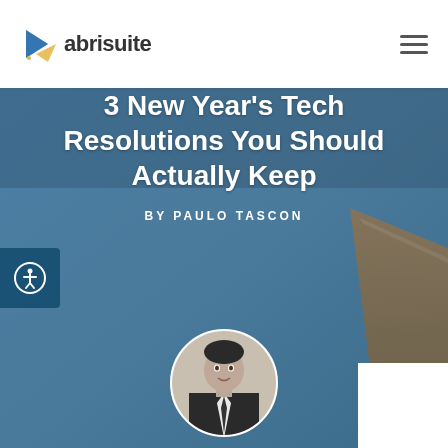[Figure (logo): Abrisuite logo with arrow icon and text 'abrisuite']
[Figure (other): Hamburger menu icon (three horizontal lines)]
[Figure (illustration): Hero banner with blue-grey gradient background and brown geometric shape on the right side]
3 New Year’s Tech Resolutions You Should Actually Keep
BY PAULO TASCON
[Figure (photo): Circular author photo of Paulo Tascon, a man in a suit]